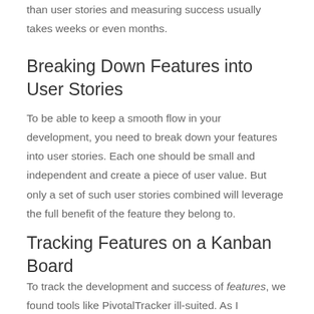than user stories and measuring success usually takes weeks or even months.
Breaking Down Features into User Stories
To be able to keep a smooth flow in your development, you need to break down your features into user stories. Each one should be small and independent and create a piece of user value. But only a set of such user stories combined will leverage the full benefit of the feature they belong to.
Tracking Features on a Kanban Board
To track the development and success of features, we found tools like PivotalTracker ill-suited. As I